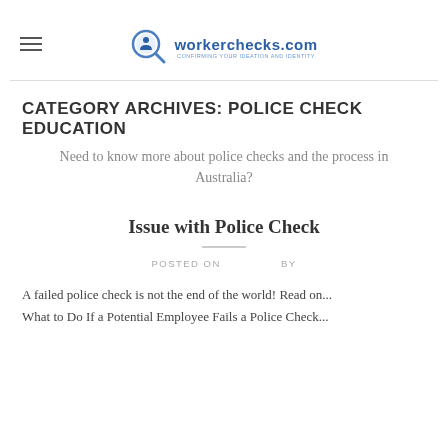workerchecks.com — CONFIRMING YOUR IDEATION AND IDENTITY
CATEGORY ARCHIVES: POLICE CHECK EDUCATION
Need to know more about police checks and the process in Australia?
Issue with Police Check
POSTED ON   BY
A failed police check is not the end of the world!  Read on...
What to Do If a Potential Employee Fails a Police Check...